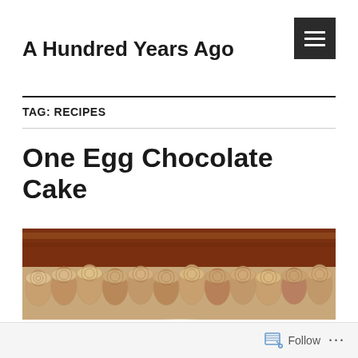A Hundred Years Ago
TAG: RECIPES
One Egg Chocolate Cake
[Figure (photo): Close-up photograph of a chocolate cake with white frosting, with cookie-rolled edges visible in the background on a wooden surface.]
Follow ...